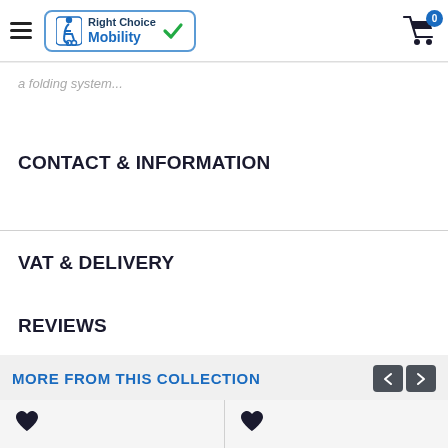Right Choice Mobility
a folding system...
CONTACT & INFORMATION
VAT & DELIVERY
REVIEWS
MORE FROM THIS COLLECTION